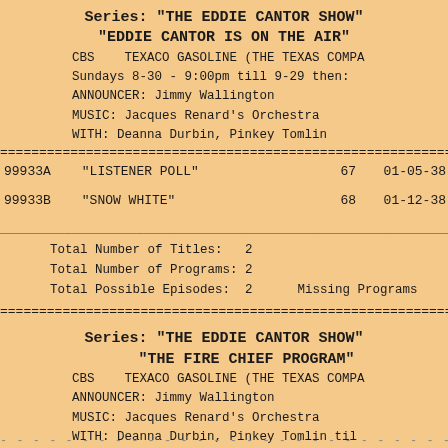Series: "THE EDDIE CANTOR SHOW"
"EDDIE CANTOR IS ON THE AIR"
CBS   TEXACO GASOLINE (THE TEXAS COMPA
Sundays 8-30 - 9:00pm till 9-29 then:
ANNOUNCER: Jimmy Wallington
MUSIC: Jacques Renard's Orchestra
WITH: Deanna Durbin, Pinkey Tomlin
| ID | Title | Num | Date |
| --- | --- | --- | --- |
| 99933A | "LISTENER POLL" | 67 | 01-05-38 |
| 99933B | "SNOW WHITE" | 68 | 01-12-38 |
Total Number of Titles:   2
Total Number of Programs: 2
Total Possible Episodes:  2        Missing Programs
Series: "THE EDDIE CANTOR SHOW"
"THE FIRE CHIEF PROGRAM"
CBS   TEXACO GASOLINE (THE TEXAS COMPA
ANNOUNCER: Jimmy Wallington
MUSIC: Jacques Renard's Orchestra
WITH: Deanna Durbin, Pinkey Tomlin til